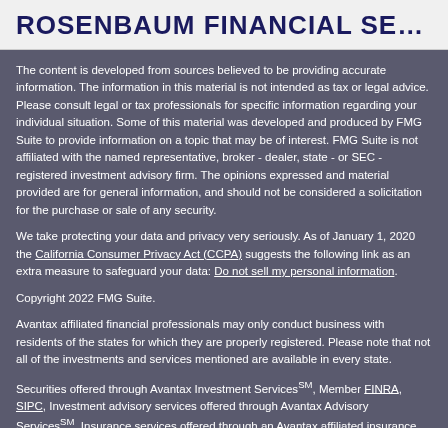ROSENBAUM FINANCIAL SER...
The content is developed from sources believed to be providing accurate information. The information in this material is not intended as tax or legal advice. Please consult legal or tax professionals for specific information regarding your individual situation. Some of this material was developed and produced by FMG Suite to provide information on a topic that may be of interest. FMG Suite is not affiliated with the named representative, broker - dealer, state - or SEC - registered investment advisory firm. The opinions expressed and material provided are for general information, and should not be considered a solicitation for the purchase or sale of any security.
We take protecting your data and privacy very seriously. As of January 1, 2020 the California Consumer Privacy Act (CCPA) suggests the following link as an extra measure to safeguard your data: Do not sell my personal information.
Copyright 2022 FMG Suite.
Avantax affiliated financial professionals may only conduct business with residents of the states for which they are properly registered. Please note that not all of the investments and services mentioned are available in every state.
Securities offered through Avantax Investment ServicesSM, Member FINRA, SIPC, Investment advisory services offered through Avantax Advisory ServicesSM, Insurance services offered through an Avantax affiliated insurance agency.